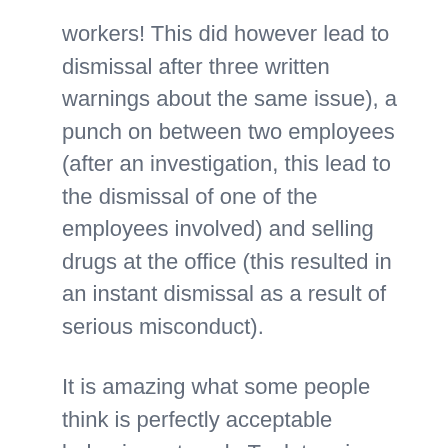workers! This did however lead to dismissal after three written warnings about the same issue), a punch on between two employees (after an investigation, this lead to the dismissal of one of the employees involved) and selling drugs at the office (this resulted in an instant dismissal as a result of serious misconduct).
It is amazing what some people think is perfectly acceptable behaviour at work. To determine the outcome of each